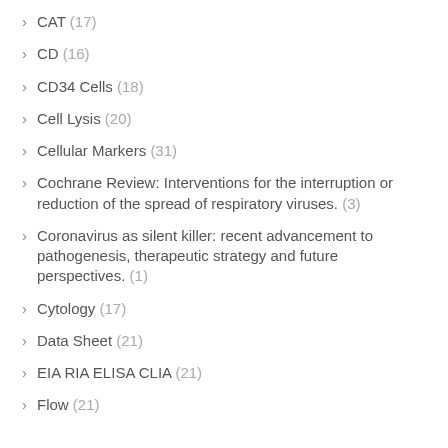CAT (17)
CD (16)
CD34 Cells (18)
Cell Lysis (20)
Cellular Markers (31)
Cochrane Review: Interventions for the interruption or reduction of the spread of respiratory viruses. (3)
Coronavirus as silent killer: recent advancement to pathogenesis, therapeutic strategy and future perspectives. (1)
Cytology (17)
Data Sheet (21)
EIA RIA ELISA CLIA (21)
Flow (21)